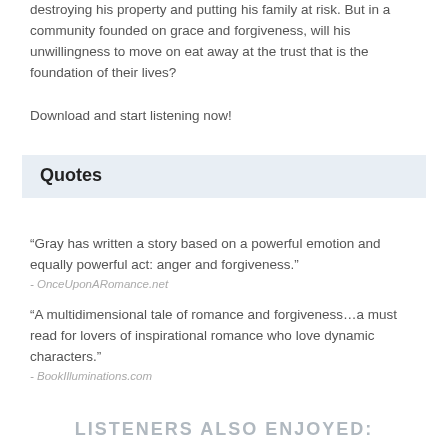destroying his property and putting his family at risk. But in a community founded on grace and forgiveness, will his unwillingness to move on eat away at the trust that is the foundation of their lives?
Download and start listening now!
Quotes
“Gray has written a story based on a powerful emotion and equally powerful act: anger and forgiveness.”
- OnceUponARomance.net
“A multidimensional tale of romance and forgiveness…a must read for lovers of inspirational romance who love dynamic characters.”
- BookIlluminations.com
LISTENERS ALSO ENJOYED: